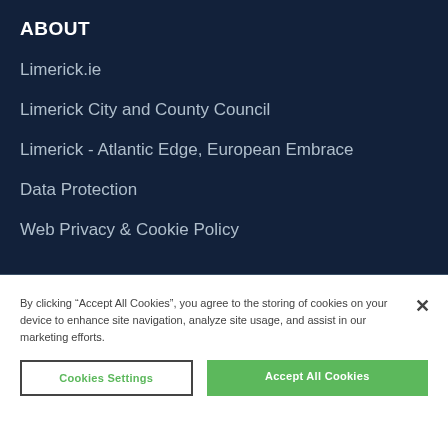ABOUT
Limerick.ie
Limerick City and County Council
Limerick - Atlantic Edge, European Embrace
Data Protection
Web Privacy & Cookie Policy
By clicking “Accept All Cookies”, you agree to the storing of cookies on your device to enhance site navigation, analyze site usage, and assist in our marketing efforts.
Cookies Settings
Accept All Cookies